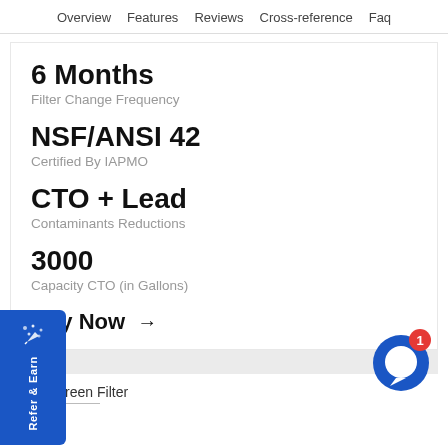Overview   Features   Reviews   Cross-reference   Faq
6 Months
Filter Change Frequency
NSF/ANSI 42
Certified By IAPMO
CTO + Lead
Contaminants Reductions
3000
Capacity CTO (in Gallons)
Buy Now →
Refer & Earn
Swift Green Filter